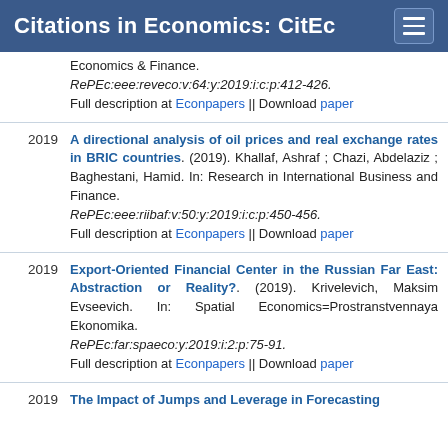Citations in Economics: CitEc
Economics & Finance. RePEc:eee:reveco:v:64:y:2019:i:c:p:412-426. Full description at Econpapers || Download paper
2019 A directional analysis of oil prices and real exchange rates in BRIC countries. (2019). Khallaf, Ashraf ; Chazi, Abdelaziz ; Baghestani, Hamid. In: Research in International Business and Finance. RePEc:eee:riibaf:v:50:y:2019:i:c:p:450-456. Full description at Econpapers || Download paper
2019 Export-Oriented Financial Center in the Russian Far East: Abstraction or Reality?. (2019). Krivelevich, Maksim Evseevich. In: Spatial Economics=Prostranstvennaya Ekonomika. RePEc:far:spaeco:y:2019:i:2:p:75-91. Full description at Econpapers || Download paper
2019 The Impact of Jumps and Leverage in Forecasting